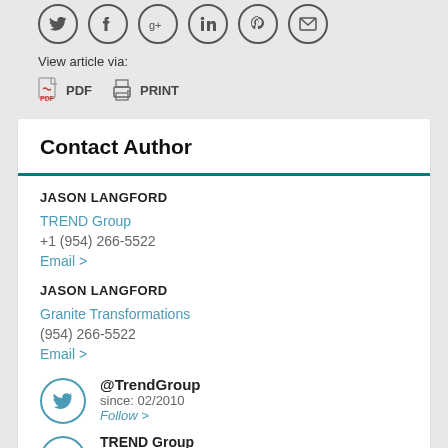[Figure (other): Row of social sharing icon buttons (Twitter, Facebook, Google+, LinkedIn, Pinterest, Email) as circle outline icons]
View article via:
PDF   PRINT
Contact Author
JASON LANGFORD
TREND Group
+1 (954) 266-5522
Email >
JASON LANGFORD
Granite Transformations
(954) 266-5522
Email >
@TrendGroup
since: 02/2010
Follow >
TREND Group